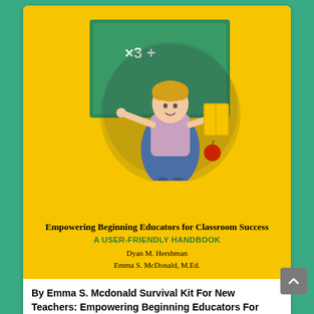[Figure (illustration): Book cover for 'Survival Kit For New Teachers: Empowering Beginning Educators For Classroom Success, A User-Friendly Handbook' by Dyan M. Hershman and Emma S. McDonald, M.Ed. Yellow background with cartoon illustration of a teacher at a chalkboard.]
By Emma S. Mcdonald Survival Kit For New Teachers: Empowering Beginning Educators For Classroom Succ PDF
...
[Figure (screenshot): Partial view of a second book listing: 'How to Cancel Kindle Unlimited: 5 SIMPLE & WORKING Ways Steps to Cancel Kindle Unlimited (NO...']